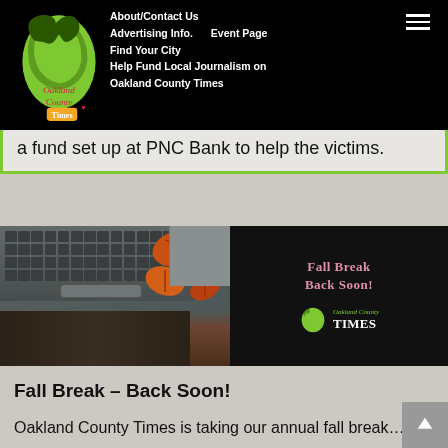Oakland County Times navigation — About/Contact Us | Advertising Info. | Event Page | Find Your City | Help Fund Local Journalism on Oakland County Times
a fund set up at PNC Bank to help the victims.
[Figure (photo): Advertisement banner showing hands typing on a laptop surrounded by autumn leaves on the left, and a dark panel on the right with text 'Fall Break Back Soon!' and Oakland County Times logo.]
Fall Break – Back Soon!
Oakland County Times is taking our annual fall break…